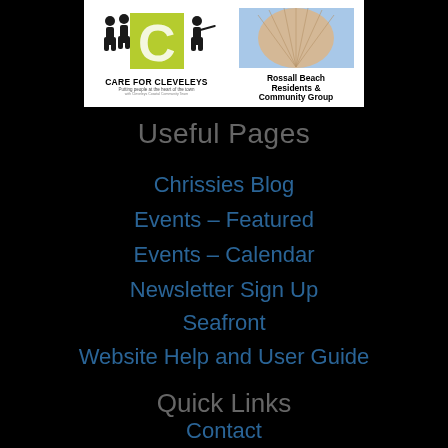[Figure (logo): Care for Cleveleys logo with silhouettes and green C letter, text: CARE FOR CLEVELEYS, Putting people at the heart of the town, with Cleveleys Coastal Community Team]
[Figure (logo): Rossall Beach Residents & Community Group logo with shell image and blue background]
Useful Pages
Chrissies Blog
Events – Featured
Events – Calendar
Newsletter Sign Up
Seafront
Website Help and User Guide
Quick Links
Contact
Copyright
Disclaimer